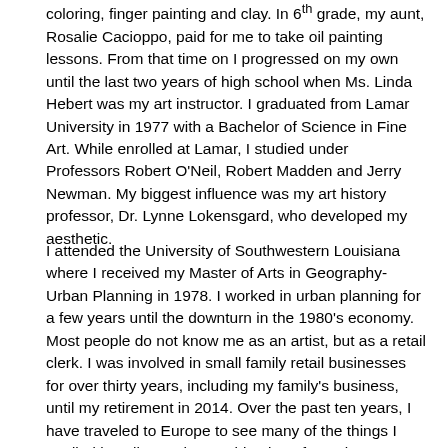coloring, finger painting and clay. In 6th grade, my aunt, Rosalie Cacioppo, paid for me to take oil painting lessons. From that time on I progressed on my own until the last two years of high school when Ms. Linda Hebert was my art instructor. I graduated from Lamar University in 1977 with a Bachelor of Science in Fine Art. While enrolled at Lamar, I studied under Professors Robert O'Neil, Robert Madden and Jerry Newman. My biggest influence was my art history professor, Dr. Lynne Lokensgard, who developed my aesthetic.
I attended the University of Southwestern Louisiana where I received my Master of Arts in Geography-Urban Planning in 1978. I worked in urban planning for a few years until the downturn in the 1980's economy. Most people do not know me as an artist, but as a retail clerk. I was involved in small family retail businesses for over thirty years, including my family's business, until my retirement in 2014. Over the past ten years, I have traveled to Europe to see many of the things I studied in college. The combination of travel, volunteering at St. Anthony Cathedral Basilica and an ongoing learning experience in art has